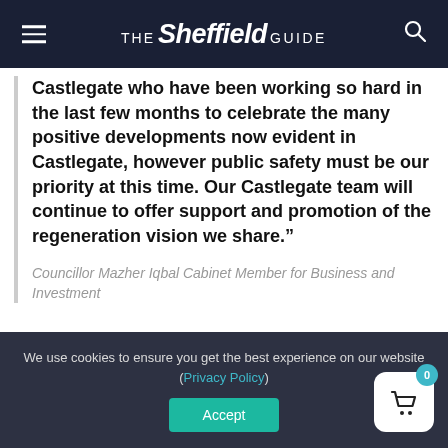THE Sheffield GUIDE
Castlegate who have been working so hard in the last few months to celebrate the many positive developments now evident in Castlegate, however public safety must be our priority at this time. Our Castlegate team will continue to offer support and promotion of the regeneration vision we share."
Councillor Mazher Iqbal Cabinet Member for Business and Investment
We use cookies to ensure you get the best experience on our website (Privacy Policy)
Accept